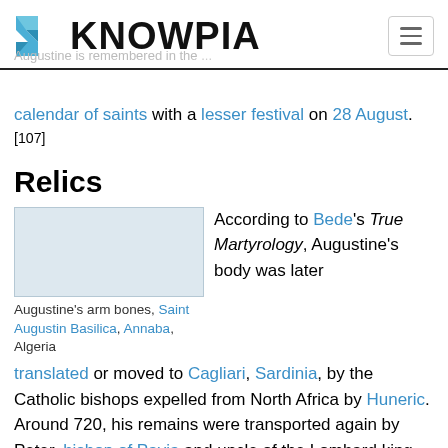[Figure (logo): Knowpia logo with blue geometric K icon and bold KNOWPIA text]
August.[107]
calendar of saints with a lesser festival on 28 August.[107]
Relics
[Figure (photo): Augustine's arm bones, Saint Augustin Basilica, Annaba, Algeria]
Augustine's arm bones, Saint Augustin Basilica, Annaba, Algeria
According to Bede's True Martyrology, Augustine's body was later translated or moved to Cagliari, Sardinia, by the Catholic bishops expelled from North Africa by Huneric. Around 720, his remains were transported again by Peter, bishop of Pavia and uncle of the Lombard king Liutprand, to the church of San Pietro in Ciel d'Oro in Pavia; but at some point the ...